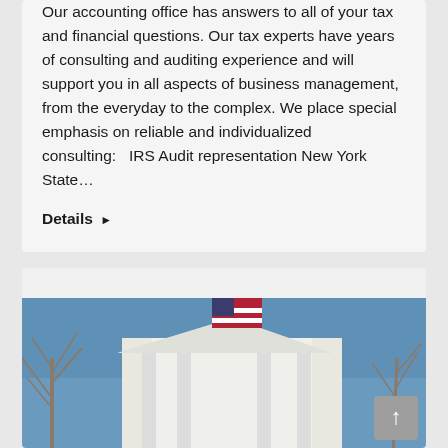Our accounting office has answers to all of your tax and financial questions. Our tax experts have years of consulting and auditing experience and will support you in all aspects of business management, from the everyday to the complex. We place special emphasis on reliable and individualized consulting:   IRS Audit representation New York State…
Details ▶
[Figure (photo): Photograph of a building exterior with bare trees in winter and a flag visible, taken from below against a blue sky]